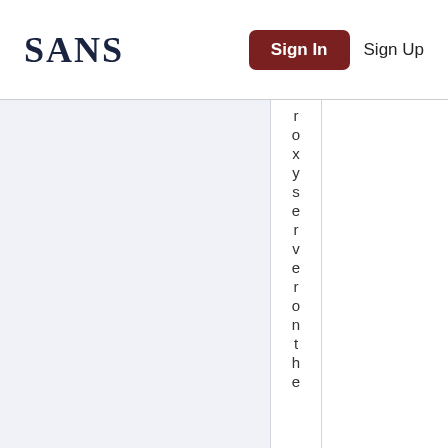SANS | Sign In | Sign Up
roxyserveronothe